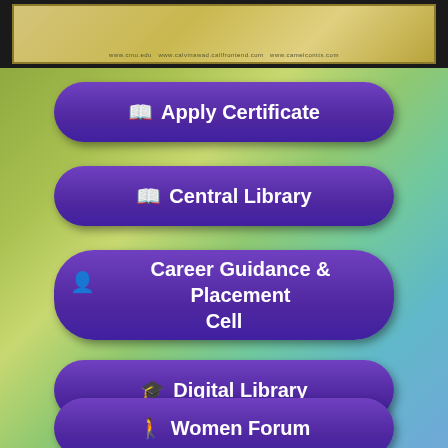[Figure (photo): Top strip showing a framed certificate or award plaque with golden background, displayed against a dark frame border. Small text visible at bottom of certificate with URLs.]
Apply Certificate
Central Library
Career Guidance & Placement Cell
Digital Library
Women Forum